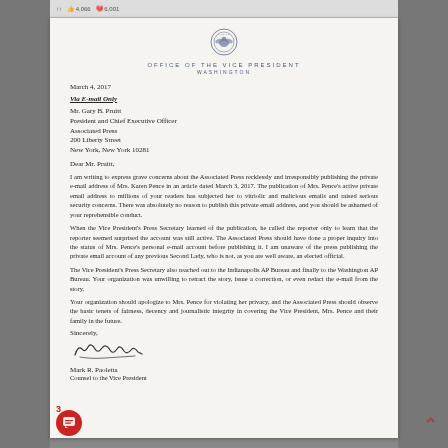4,066  6,001
[Figure (logo): Seal of the Office of the Vice President of the United States]
OFFICE OF THE VICE PRESIDENT
WASHINGTON
March 4, 2017
Via E-mail Only
Mr. Gary B. Pruitt
President and Chief Executive Officer
Associated Press
200 Liberty Street
New York, New York 10281
Dear Mr. Pruitt,
I am writing to express grave concerns about the Associated Press recklessly and irresponsibly publishing the private e-mail address of Mrs. Karen Pence in an article dated March 3, 2017. The publication of Mrs. Pence's active private email address to millions of your readers has subjected her to vitriolic and malicious emails and raised serious security concerns. There was absolutely no reason to publish this private email address, and you should be ashamed of your reprehensible conduct.
When the Vice President's Press Secretary learned of the publication, he called the reporter only to learn that the reporter seemed surprised the account was still active. The Associated Press should have done a proper inquiry into the status of Mrs. Pence's personal e-mail account before publishing it. I am unaware of the press publishing the private email account of any previous Second Lady, who is not, as you are well aware, an elected official.
The Vice President's Press Secretary also reached out to the Indianapolis AP Bureau and finally to the Washington AP Bureau. Your organization was unwilling to retract the story, issue a correction, or even redact the e-mail from the story.
Your organization should apologize to Mrs. Pence for violating her privacy, and the Associated Press should observe the basic tenets of fairness, decency and journalistic integrity in covering the Vice President, Mrs. Pence and their family in the future.
Sincerely,
[Figure (illustration): Handwritten signature of Mark R. Paoletta]
Mark R. Paoletta
Counsel to the Vice President